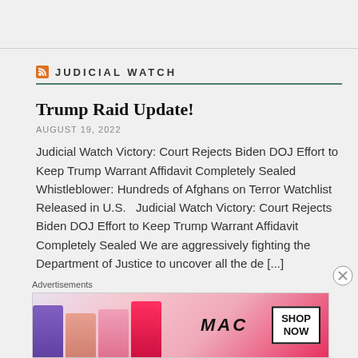JUDICIAL WATCH
Trump Raid Update!
AUGUST 19, 2022
Judicial Watch Victory: Court Rejects Biden DOJ Effort to Keep Trump Warrant Affidavit Completely Sealed Whistleblower: Hundreds of Afghans on Terror Watchlist Released in U.S.   Judicial Watch Victory: Court Rejects Biden DOJ Effort to Keep Trump Warrant Affidavit Completely Sealed We are aggressively fighting the Department of Justice to uncover all the de [...]
Advertisements
[Figure (photo): MAC cosmetics advertisement banner showing lipsticks in purple, peach, pink, and red with MAC logo and SHOP NOW button]